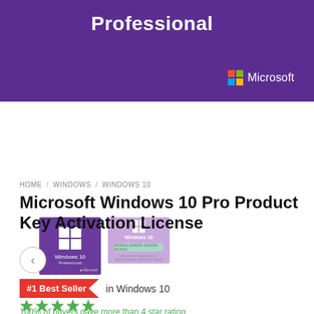[Figure (screenshot): Windows 10 Professional purple hero banner with Microsoft logo and Windows logo]
[Figure (screenshot): Two product thumbnails: Windows 10 Professional box and Windows 10 product key card]
HOME / WINDOWS / WINDOWS 10
Microsoft Windows 10 Pro Product Key Activation License
[Figure (other): Left navigation arrow circle button]
#1 Best Seller in Windows 10
[Figure (other): 5 green star rating]
100% of buyers gave more than 4 star rating